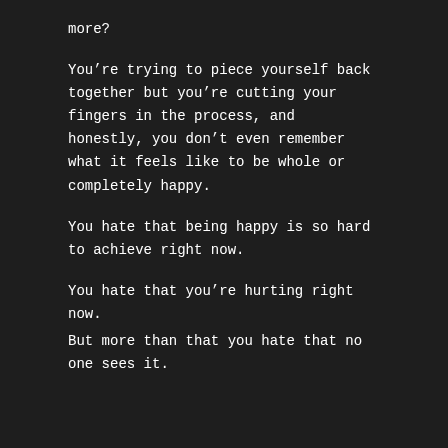more?
You’re trying to piece yourself back together but you’re cutting your fingers in the process, and honestly, you don’t even remember what it feels like to be whole or completely happy.
You hate that being happy is so hard to achieve right now.
You hate that you’re hurting right now.
But more than that you hate that no one sees it.